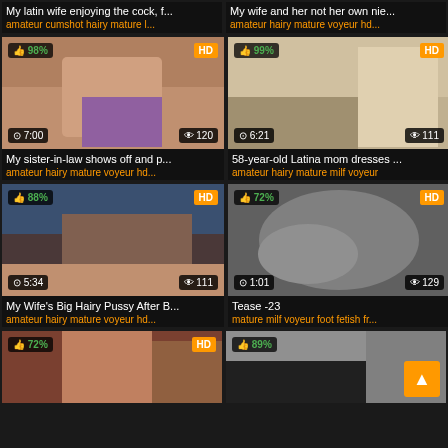My latin wife enjoying the cock, f...
amateur cumshot hairy mature l...
My wife and her not her own nie...
amateur hairy mature voyeur hd...
[Figure (photo): Video thumbnail with 98% like rating, HD badge, 7:00 duration, 120 views]
My sister-in-law shows off and p...
amateur hairy mature voyeur hd...
[Figure (photo): Video thumbnail with 99% like rating, HD badge, 6:21 duration, 111 views]
58-year-old Latina mom dresses ...
amateur hairy mature milf voyeur
[Figure (photo): Video thumbnail with 88% like rating, HD badge, 5:34 duration, 111 views]
My Wife's Big Hairy Pussy After B...
amateur hairy mature voyeur hd...
[Figure (photo): Video thumbnail with 72% like rating, HD badge, 1:01 duration, 129 views]
Tease -23
mature milf voyeur foot fetish fr...
[Figure (photo): Partial video thumbnail with 72% like rating, HD badge]
[Figure (photo): Partial video thumbnail with 89% like rating, back-to-top button]